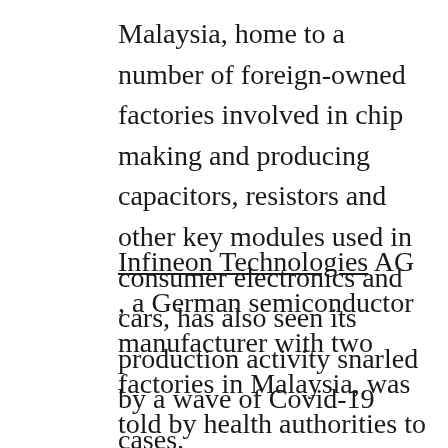Malaysia, home to a number of foreign-owned factories involved in chip making and producing capacitors, resistors and other key modules used in consumer electronics and cars, has also seen its production activity snarled by a wave of Covid-19 cases.
Infineon Technologies AG , a German semiconductor manufacturer with two factories in Malaysia, was told by health authorities to shut down one of its plants earlier this month, which has delayed some chip deliveries. The company's other global factories are running at high capacity and aren't able to pick up the slack, according to Gregor Rodehueser, a company spokesman.
More text continues about Covid-19 cases...